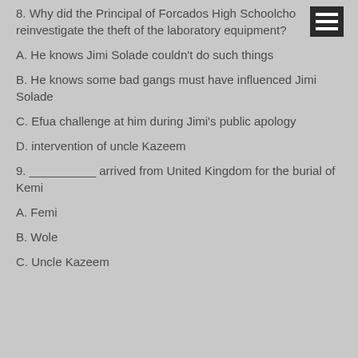8. Why did the Principal of Forcados High School choose to reinvestigate the theft of the laboratory equipment?
A. He knows Jimi Solade couldn't do such things
B. He knows some bad gangs must have influenced Jimi Solade
C. Efua challenge at him during Jimi's public apology
D. intervention of uncle Kazeem
9. __________ arrived from United Kingdom for the burial of Kemi
A. Femi
B. Wole
C. Uncle Kazeem